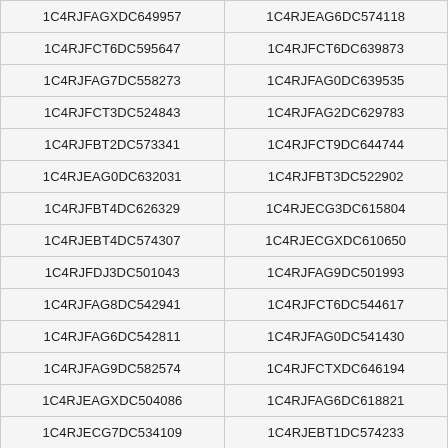| 1C4RJFAGXDC649957 | 1C4RJEAG6DC574118 |
| 1C4RJFCT6DC595647 | 1C4RJFCT6DC639873 |
| 1C4RJFAG7DC558273 | 1C4RJFAG0DC639535 |
| 1C4RJFCT3DC524843 | 1C4RJFAG2DC629783 |
| 1C4RJFBT2DC573341 | 1C4RJFCT9DC644744 |
| 1C4RJEAG0DC632031 | 1C4RJFBT3DC522902 |
| 1C4RJFBT4DC626329 | 1C4RJECG3DC615804 |
| 1C4RJEBT4DC574307 | 1C4RJECGXDC610650 |
| 1C4RJFDJ3DC501043 | 1C4RJFAG9DC501993 |
| 1C4RJFAG8DC542941 | 1C4RJFCT6DC544617 |
| 1C4RJFAG6DC542811 | 1C4RJFAG0DC541430 |
| 1C4RJFAG9DC582574 | 1C4RJFCTXDC646194 |
| 1C4RJEAGXDC504086 | 1C4RJFAG6DC618821 |
| 1C4RJECG7DC534109 | 1C4RJEBT1DC574233 |